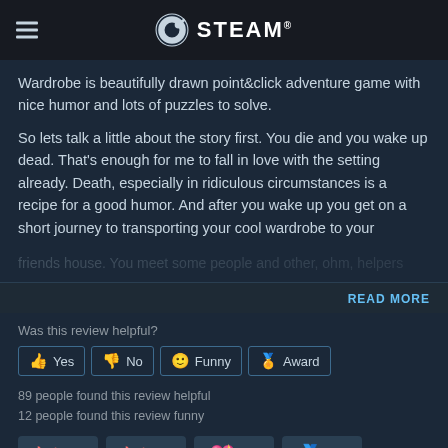STEAM
Wardrobe is beautifully drawn point&click adventure game with nice humor and lots of puzzles to solve.

So lets talk a little about the story first. You die and you wake up dead. That's enough for me to fall in love with the setting already. Death, especially in ridiculous circumstances is a recipe for a good humor. And after you wake up you get on a short journey to transporting your cool wardrobe to your friends house. You meet some people and other, ohm, helpers
READ MORE
Was this review helpful?
Yes   No   Funny   Award
89 people found this review helpful
12 people found this review funny
45   36   19   34